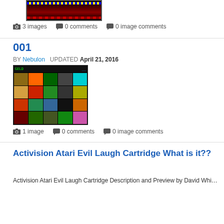[Figure (screenshot): Small thumbnail screenshot of an Atari game with black background and colored horizontal bands]
3 images   0 comments   0 image comments
001
BY Nebulon  UPDATED April 21, 2016
[Figure (screenshot): Grid of Atari game screenshots on black background, 5x5 grid of colorful game images]
1 image   0 comments   0 image comments
Activision Atari Evil Laugh Cartridge What is it??
Activision Atari Evil Laugh Cartridge Description and Preview by David Whittle